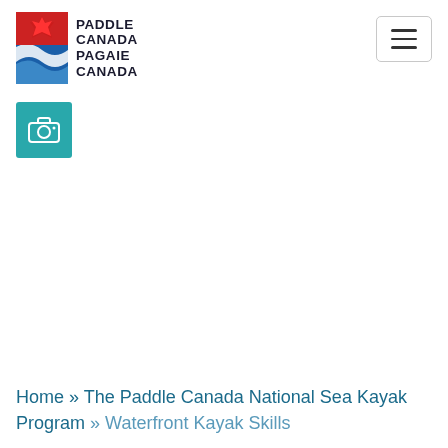[Figure (logo): Paddle Canada / Pagaie Canada logo with red maple leaf and blue/white wave graphic on left, bold text on right reading PADDLE CANADA PAGAIE CANADA]
[Figure (other): Hamburger menu button (three horizontal lines) in a rounded rectangle border, top right corner]
[Figure (other): Teal/cyan square button with a camera icon]
Home » The Paddle Canada National Sea Kayak Program » Waterfront Kayak Skills